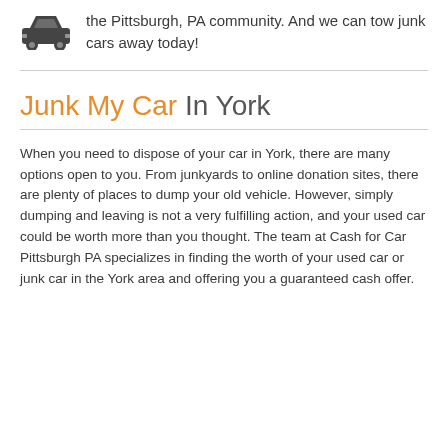the Pittsburgh, PA community. And we can tow junk cars away today!
Junk My Car In York
When you need to dispose of your car in York, there are many options open to you. From junkyards to online donation sites, there are plenty of places to dump your old vehicle. However, simply dumping and leaving is not a very fulfilling action, and your used car could be worth more than you thought. The team at Cash for Car Pittsburgh PA specializes in finding the worth of your used car or junk car in the York area and offering you a guaranteed cash offer.